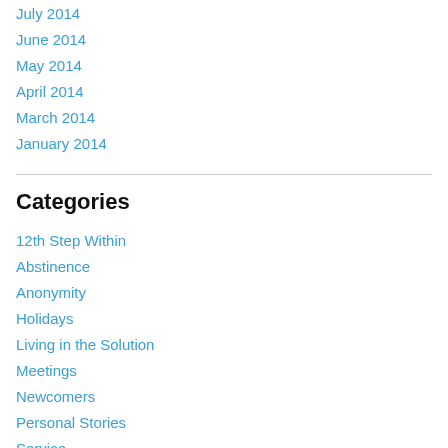July 2014
June 2014
May 2014
April 2014
March 2014
January 2014
Categories
12th Step Within
Abstinence
Anonymity
Holidays
Living in the Solution
Meetings
Newcomers
Personal Stories
Service
Sponsorship
Step...